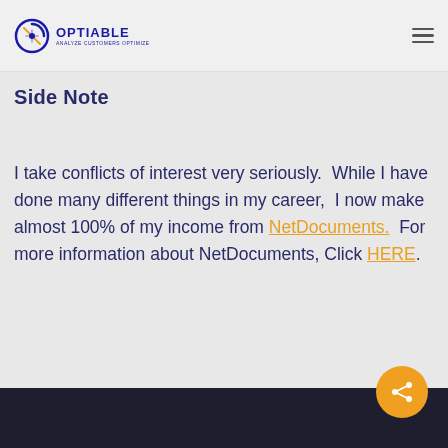Optiable — Analyze Customers Optimize
Side Note
I take conflicts of interest very seriously.  While I have done many different things in my career,  I now make almost 100% of my income from NetDocuments.  For more information about NetDocuments, Click HERE.